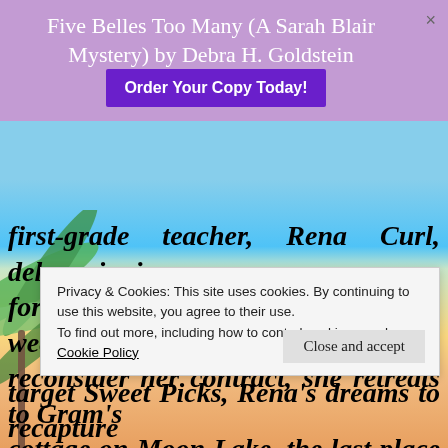Five Belles Too Many (A Sarah Blair Mystery) by Debra H. Goldstein   Order Your Copy Today!
first-grade teacher, Rena Curl, delays signing up for the disappointment. Given two weeks to reconsider her contract, she retreats to Gram's cottage on Moon Lake, the last place she felt contentment. But the cottage is derelict; Cousin Julie, distant; childhood beaux, Dean, bitter; and Sweet Picks, the family ice cream stand, in
Privacy & Cookies: This site uses cookies. By continuing to use this website, you agree to their use.
To find out more, including how to control cookies, see here:
Cookie Policy
target Sweet Picks, Rena's dreams to recapture